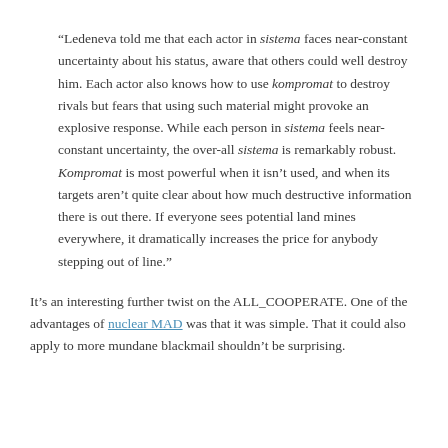“Ledeneva told me that each actor in sistema faces near-constant uncertainty about his status, aware that others could well destroy him. Each actor also knows how to use kompromat to destroy rivals but fears that using such material might provoke an explosive response. While each person in sistema feels near-constant uncertainty, the over-all sistema is remarkably robust. Kompromat is most powerful when it isn’t used, and when its targets aren’t quite clear about how much destructive information there is out there. If everyone sees potential land mines everywhere, it dramatically increases the price for anybody stepping out of line.”
It’s an interesting further twist on the ALL_COOPERATE. One of the advantages of nuclear MAD was that it was simple. That it could also apply to more mundane blackmail shouldn’t be surprising.